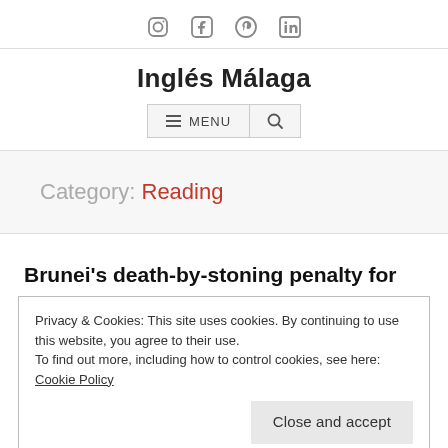Social icons: Instagram, Facebook, Pinterest, LinkedIn
Inglés Málaga
≡ MENU [search icon]
Category: Reading
Brunei's death-by-stoning penalty for gay sex
Privacy & Cookies: This site uses cookies. By continuing to use this website, you agree to their use.
To find out more, including how to control cookies, see here: Cookie Policy
Close and accept